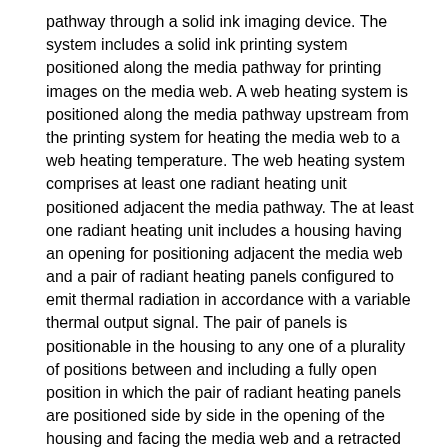pathway through a solid ink imaging device. The system includes a solid ink printing system positioned along the media pathway for printing images on the media web. A web heating system is positioned along the media pathway upstream from the printing system for heating the media web to a web heating temperature. The web heating system comprises at least one radiant heating unit positioned adjacent the media pathway. The at least one radiant heating unit includes a housing having an opening for positioning adjacent the media web and a pair of radiant heating panels configured to emit thermal radiation in accordance with a variable thermal output signal. The pair of panels is positionable in the housing to any one of a plurality of positions between and including a fully open position in which the pair of radiant heating panels are positioned side by side in the opening of the housing and facing the media web and a retracted position in which the pair of radiant heating panels are inside the housing and facing each other. A panel driver is operably coupled to the pair of radiant heating panels for positioning the pair of radiant heating panels to at least one of the plurality of positions in response to a variable view factor signal. The